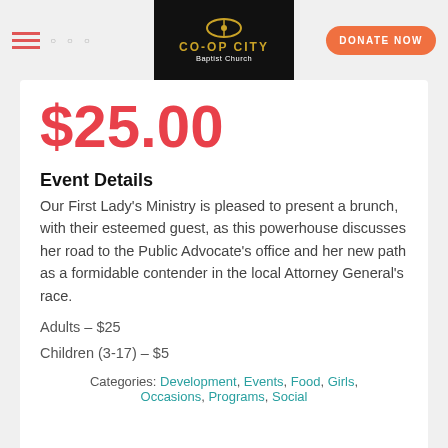Co-Op City Baptist Church — navigation bar with hamburger menu, dots, logo, and DONATE NOW button
$25.00
Event Details
Our First Lady’s Ministry is pleased to present a brunch, with their esteemed guest, as this powerhouse discusses her road to the Public Advocate’s office and her new path as a formidable contender in the local Attorney General’s race.
Adults – $25
Children (3-17) – $5
Categories: Development, Events, Food, Girls, Occasions, Programs, Social